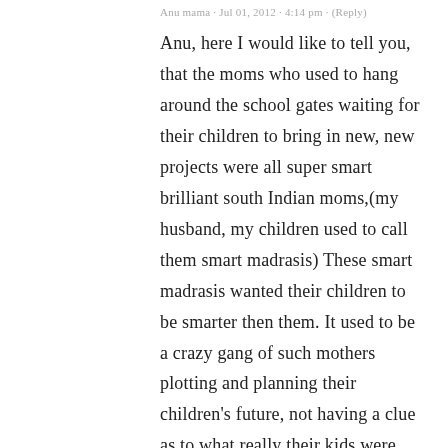Anu mama · Jul 01, 2012 · 4:14 pm · (Reply)
Anu, here I would like to tell you, that the moms who used to hang around the school gates waiting for their children to bring in new, new projects were all super smart brilliant south Indian moms,(my husband, my children used to call them smart madrasis) These smart madrasis wanted their children to be smarter then them. It used to be a crazy gang of such mothers plotting and planning their children's future, not having a clue as to what really their kids were interested. I was the only madrasi who stood away from this...